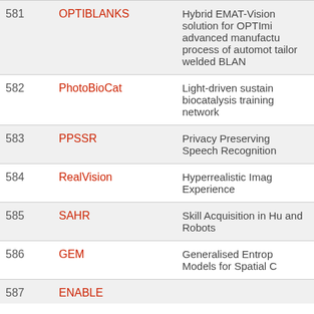| # | Acronym | Description |
| --- | --- | --- |
| 581 | OPTIBLANKS | Hybrid EMAT-Vision solution for OPTImising advanced manufacturing process of automotive tailor welded BLANK |
| 582 | PhotoBioCat | Light-driven sustainable biocatalysis training network |
| 583 | PPSSR | Privacy Preserving Speech Recognition |
| 584 | RealVision | Hyperrealistic Image Experience |
| 585 | SAHR | Skill Acquisition in Humans and Robots |
| 586 | GEM | Generalised Entropy Models for Spatial C |
| 587 | ENABLE | ... |